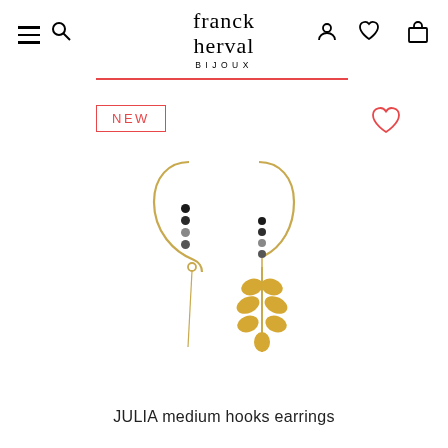franck herval BIJOUX
[Figure (photo): JULIA medium hooks earrings — gold-tone hook earrings with small dark/black beads and a gold leaf charm pendant, shown as a pair on white background]
JULIA medium hooks earrings